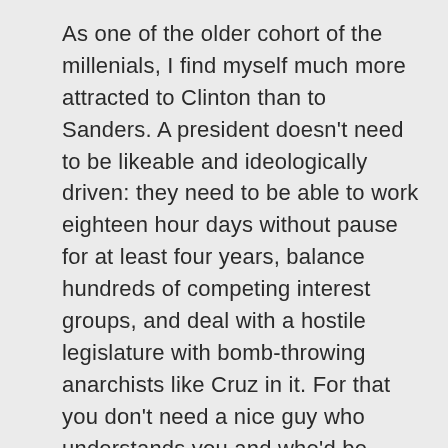As one of the older cohort of the millenials, I find myself much more attracted to Clinton than to Sanders. A president doesn't need to be likeable and ideologically driven: they need to be able to work eighteen hour days without pause for at least four years, balance hundreds of competing interest groups, and deal with a hostile legislature with bomb-throwing anarchists like Cruz in it. For that you don't need a nice guy who understands you and who'd be good to have a beer with. You need a smart, ruthless asshole with all